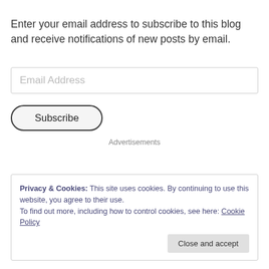Enter your email address to subscribe to this blog and receive notifications of new posts by email.
Email Address
Subscribe
Advertisements
Privacy & Cookies: This site uses cookies. By continuing to use this website, you agree to their use.
To find out more, including how to control cookies, see here: Cookie Policy
Close and accept